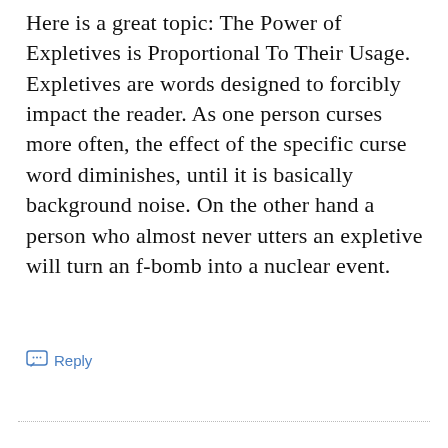Here is a great topic: The Power of Expletives is Proportional To Their Usage. Expletives are words designed to forcibly impact the reader. As one person curses more often, the effect of the specific curse word diminishes, until it is basically background noise. On the other hand a person who almost never utters an expletive will turn an f-bomb into a nuclear event.
Reply